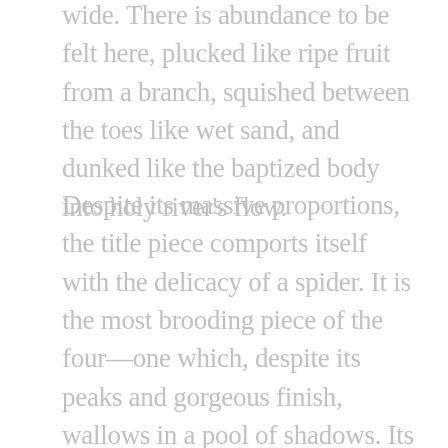wide. There is abundance to be felt here, plucked like ripe fruit from a branch, squished between the toes like wet sand, and dunked like the baptized body into holy river's flow.
Despite its massive proportions, the title piece comports itself with the delicacy of a spider. It is the most brooding piece of the four—one which, despite its peaks and gorgeous finish, wallows in a pool of shadows. Its final jubilations pick at a lone thread of light, unravel the tapestry of the night, and weave a new one into the Miserere that follows. The strings, robust yet tentative in their dynamic recession, are servants to the bandoneón, the latter a messenger sent from above. Its lungs exhale only peace, leaving no doubt that Saluzzi's is a spiritual art.